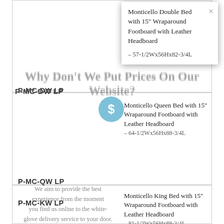Why Don't We Put Prices On Our Website?
P-MC-DW LP
[Figure (other): Popup modal card showing product: Monticello Double Bed with 15" Wraparound Footboard with Leather Headboard, dimensions – 57-1/2Wx56Hx82-3/4L, with close button (×)]
P-MC-QW LP
Monticello Queen Bed with 15" Wraparound Footboard with Leather Headboard
– 64-1/2Wx56Hx88-3/4L
We aim to provide the best experience from the moment you find us online to the white-glove delivery service to your door.
As you browse our hundreds of items from our 10 manufacturers, you will notice the vast majority of customization options ou...From finishes to fabrics, cushion style and toss cushion, we pride ourselves on being able to offer you the ultimate customer
P-MC-KW LP
Monticello King Bed with 15" Wraparound Footboard with Leather Headboard
– 81-1/2Wx56Hx88-3/4L